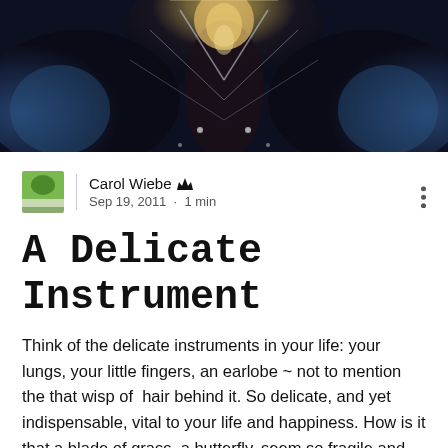[Figure (photo): Symmetrical abstract/artistic photo with dark blue and gold tones, appears to be a mirrored nature or costume image]
Carol Wiebe 👑
Sep 19, 2011 · 1 min
A Delicate Instrument
Think of the delicate instruments in your life: your lungs, your little fingers, an earlobe ~ not to mention the that wisp of hair behind it. So delicate, and yet indispensable, vital to your life and happiness. How is it that a blade of grass, a butterfly, seem so fragile and yet have an